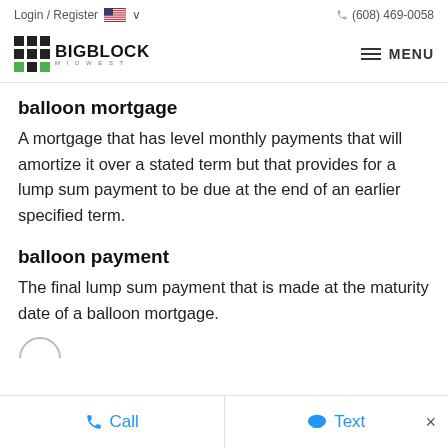Login / Register  (608) 469-0058
[Figure (logo): BigBlock Midwest logo with grid icon]
balloon mortgage
A mortgage that has level monthly payments that will amortize it over a stated term but that provides for a lump sum payment to be due at the end of an earlier specified term.
balloon payment
The final lump sum payment that is made at the maturity date of a balloon mortgage.
Call  Text